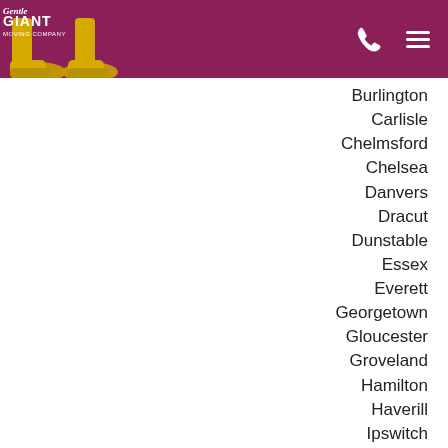[Figure (logo): Gentle Giant Moving Company logo with yellow boots and maroon background, with phone and menu icons]
Burlington
Carlisle
Chelmsford
Chelsea
Danvers
Dracut
Dunstable
Essex
Everett
Georgetown
Gloucester
Groveland
Hamilton
Haverill
Ipswitch
Lawrence
Lexington
Lowell
Lynn
Lynnfield
Malden